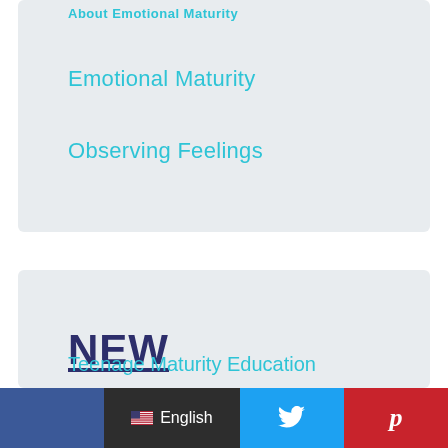About Emotional Maturity
Emotional Maturity
Observing Feelings
NEW
Teenage Maturity Education